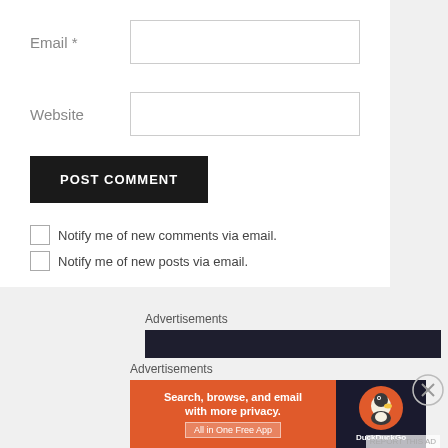Email *
Website
POST COMMENT
Notify me of new comments via email.
Notify me of new posts via email.
Advertisements
Advertisements
[Figure (screenshot): DuckDuckGo advertisement banner: orange left panel with text 'Search, browse, and email with more privacy. All in One Free App', dark right panel with DuckDuckGo duck logo]
REPORT THIS AD